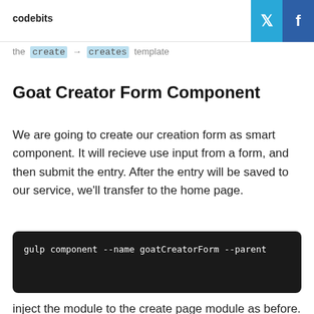codebits
the `create` → `creates` template
Goat Creator Form Component
We are going to create our creation form as smart component. It will recieve use input from a form, and then submit the entry. After the entry will be saved to our service, we'll transfer to the home page.
gulp component --name goatCreatorForm --parent
inject the module to the create page module as before.